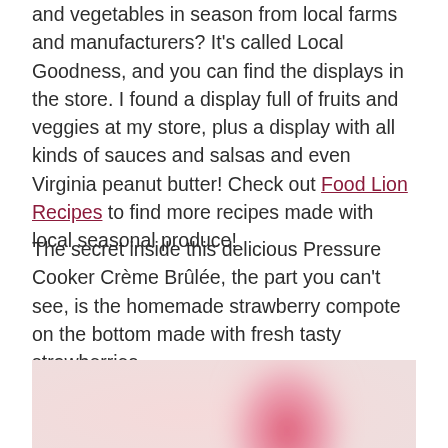and vegetables in season from local farms and manufacturers? It's called Local Goodness, and you can find the displays in the store. I found a display full of fruits and veggies at my store, plus a display with all kinds of sauces and salsas and even Virginia peanut butter! Check out Food Lion Recipes to find more recipes made with local seasonal produce!
The secret inside this delicious Pressure Cooker Crème Brûlée, the part you can't see, is the homemade strawberry compote on the bottom made with fresh tasty strawberries.
[Figure (photo): A photo showing a pale pink/blush background with a blurred reddish-pink triangular or pyramidal shape in the center-right, likely a strawberry or dessert element.]